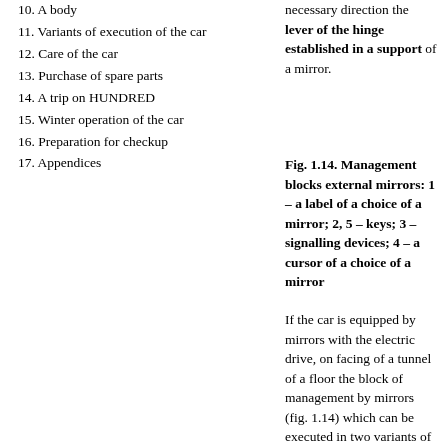10. A body
11. Variants of execution of the car
12. Care of the car
13. Purchase of spare parts
14. A trip on HUNDRED
15. Winter operation of the car
16. Preparation for checkup
17. Appendices
necessary direction the lever of the hinge established in a support of a mirror.
Fig. 1.14. Management blocks external mirrors: 1 – a label of a choice of a mirror; 2, 5 – keys; 3 – signalling devices; 4 – a cursor of a choice of a mirror
If the car is equipped by mirrors with the electric drive, on facing of a tunnel of a floor the block of management by mirrors (fig. 1.14) which can be executed in two variants of an operating element is established: with one key (fig. 1.14,)